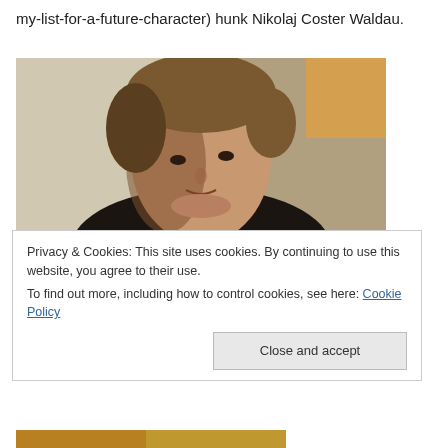my-list-for-a-future-character) hunk Nikolaj Coster Waldau.
[Figure (photo): Close-up portrait photo of actor Nikolaj Coster-Waldau, a young man with light brown hair, wearing a dark jacket and white shirt, lit from the side against a light background.]
Privacy & Cookies: This site uses cookies. By continuing to use this website, you agree to their use.
To find out more, including how to control cookies, see here: Cookie Policy
Close and accept